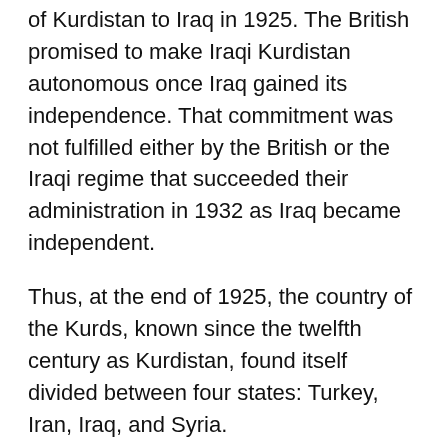of Kurdistan to Iraq in 1925. The British promised to make Iraqi Kurdistan autonomous once Iraq gained its independence. That commitment was not fulfilled either by the British or the Iraqi regime that succeeded their administration in 1932 as Iraq became independent.
Thus, at the end of 1925, the country of the Kurds, known since the twelfth century as Kurdistan, found itself divided between four states: Turkey, Iran, Iraq, and Syria.
Kurdish Communities in West Asia
Iraq
After the military coup by Abdul Karim Qasim in 1958, Mustafa Barzani, head of the Barzani clan, who had